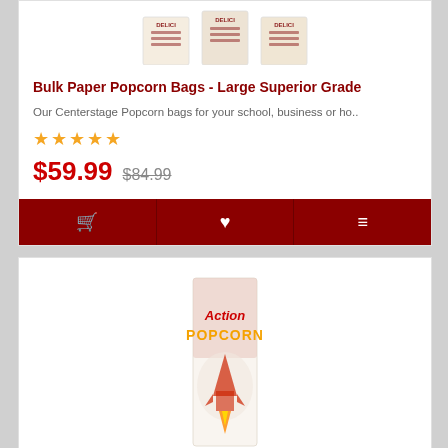[Figure (photo): Three white paper popcorn bags with red 'Delicious' text visible at top, shown from above]
Bulk Paper Popcorn Bags - Large Superior Grade
Our Centerstage Popcorn bags for your school, business or ho..
★★★★★ (5 stars)
$59.99  $84.99
[Figure (photo): Action Popcorn bag - white paper bag with red and yellow rocket/popcorn graphic and 'Action Popcorn' text]